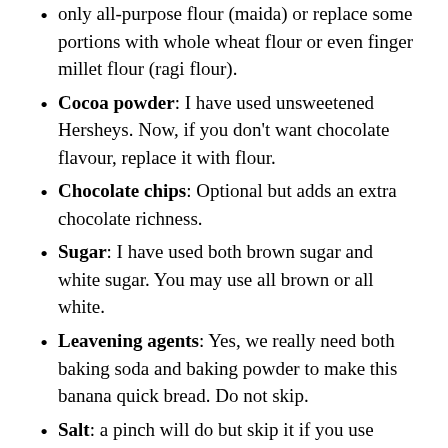only all-purpose flour (maida) or replace some portions with whole wheat flour or even finger millet flour (ragi flour).
Cocoa powder: I have used unsweetened Hersheys. Now, if you don't want chocolate flavour, replace it with flour.
Chocolate chips: Optional but adds an extra chocolate richness.
Sugar: I have used both brown sugar and white sugar. You may use all brown or all white.
Leavening agents: Yes, we really need both baking soda and baking powder to make this banana quick bread. Do not skip.
Salt: a pinch will do but skip it if you use salted butter.
Walnuts: I have used whole walnuts that I